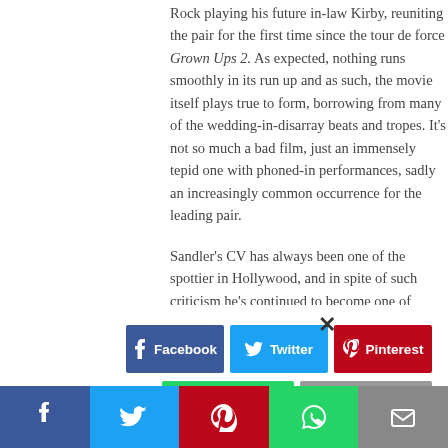Rock playing his future in-law Kirby, reuniting the pair for the first time since the tour de force Grown Ups 2. As expected, nothing runs smoothly in its run up and as such, the movie itself plays true to form, borrowing from many of the wedding-in-disarray beats and tropes. It's not so much a bad film, just an immensely tepid one with phoned-in performances, sadly an increasingly common occurrence for the leading pair.
Sandler's CV has always been one of the spottier in Hollywood, and in spite of such criticism he's continued to become one of comedy's most bankable stars and though 2009's Funny People was almost biographical in
[Figure (infographic): Social share modal overlay with Facebook, Twitter, Pinterest buttons and WhatsApp/More buttons below, plus a close X button]
[Figure (infographic): Sticky bottom share bar with Facebook, Twitter, Pinterest, WhatsApp, and Email icon buttons]